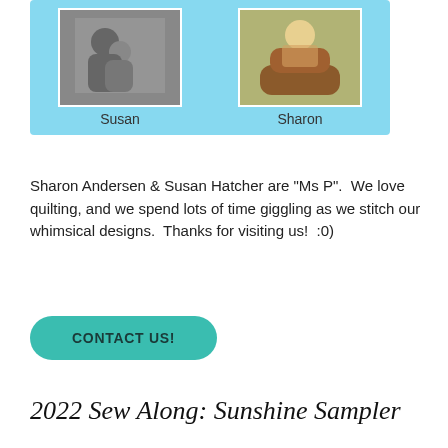[Figure (photo): Two photos side by side on a light blue background. Left photo (black and white) labeled 'Susan' shows two people embracing. Right photo labeled 'Sharon' shows a woman leaning on a large decorative animal sculpture outdoors.]
Sharon Andersen & Susan Hatcher are "Ms P".  We love quilting, and we spend lots of time giggling as we stitch our whimsical designs.  Thanks for visiting us!  :0)
CONTACT US!
2022 Sew Along: Sunshine Sampler